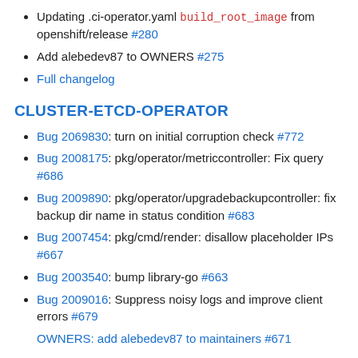Updating .ci-operator.yaml build_root_image from openshift/release #280
Add alebedev87 to OWNERS #275
Full changelog
CLUSTER-ETCD-OPERATOR
Bug 2069830: turn on initial corruption check #772
Bug 2008175: pkg/operator/metriccontroller: Fix query #686
Bug 2009890: pkg/operator/upgradebackupcontroller: fix backup dir name in status condition #683
Bug 2007454: pkg/cmd/render: disallow placeholder IPs #667
Bug 2003540: bump library-go #663
Bug 2009016: Suppress noisy logs and improve client errors #679
OWNERS: add alebedev87 to maintainers #671